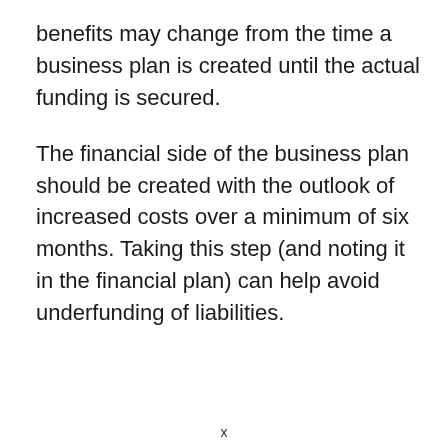benefits may change from the time a business plan is created until the actual funding is secured.
The financial side of the business plan should be created with the outlook of increased costs over a minimum of six months. Taking this step (and noting it in the financial plan) can help avoid underfunding of liabilities.
x